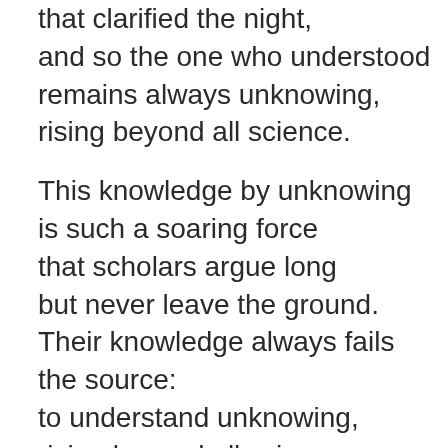that clarified the night,
and so the one who understood
remains always unknowing,
rising beyond all science.

This knowledge by unknowing
is such a soaring force
that scholars argue long
but never leave the ground.
Their knowledge always fails the source:
to understand unknowing,
rising beyond all science.

This knowledge is supreme
crossing a blazing height;
though formal reason tries
it crumbles in the dark,